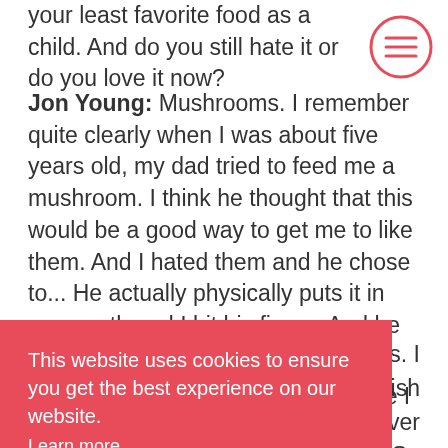your least favorite food as a child. And do you still hate it or do you love it now?
Jon Young: Mushrooms. I remember quite clearly when I was about five years old, my dad tried to feed me a mushroom. I think he thought that this would be a good way to get me to like them. And I hated them and he chose to... He actually physically puts it in my mouth and I bit his finger. And he didn't
s. I Polish ver . So ke g five times, then you will like it. So maybe I just need to
[Figure (other): Hamburger menu icon circle, red outline with three horizontal lines]
This website uses cookies to ensure you get the best experience on our website. Learn more OK